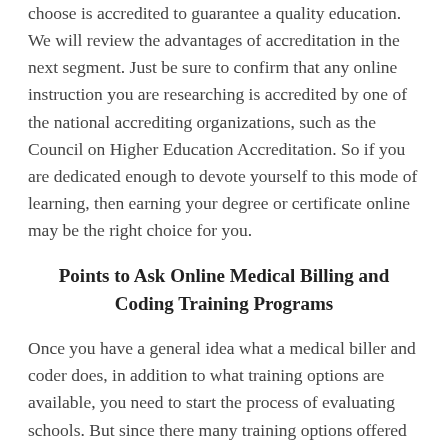choose is accredited to guarantee a quality education. We will review the advantages of accreditation in the next segment. Just be sure to confirm that any online instruction you are researching is accredited by one of the national accrediting organizations, such as the Council on Higher Education Accreditation. So if you are dedicated enough to devote yourself to this mode of learning, then earning your degree or certificate online may be the right choice for you.
Points to Ask Online Medical Billing and Coding Training Programs
Once you have a general idea what a medical biller and coder does, in addition to what training options are available, you need to start the process of evaluating schools. But since there many training options offered at community colleges and trade, vocational and technical schools online and within the Trussville AL area, you should have a prepared list of